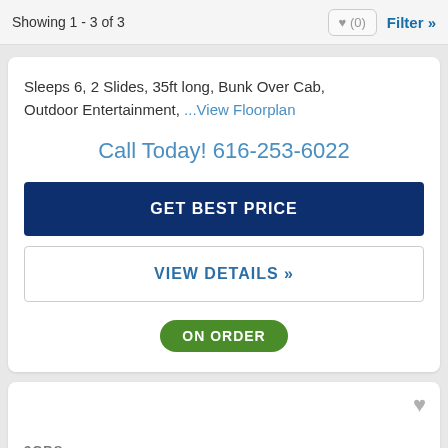Showing 1 - 3 of 3
Sleeps 6, 2 Slides, 35ft long, Bunk Over Cab, Outdoor Entertainment, ...View Floorplan
Call Today! 616-253-6022
GET BEST PRICE
VIEW DETAILS »
ON ORDER
3GBS